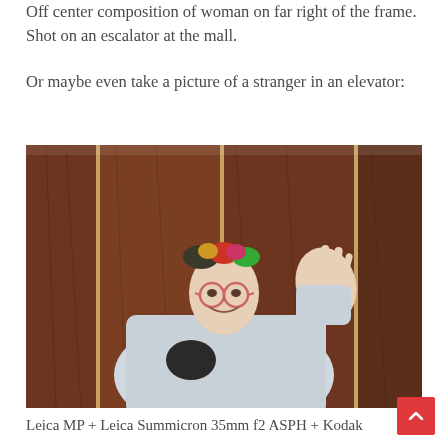Off center composition of woman on far right of the frame. Shot on an escalator at the mall.
Or maybe even take a picture of a stranger in an elevator:
[Figure (photo): Photograph of an elderly woman with hair curlers, pink round glasses, smiling and waving in an elevator with wood-paneled walls. She is wearing a light blue robe and holding a dark purse.]
Leica MP + Leica Summicron 35mm f2 ASPH + Kodak